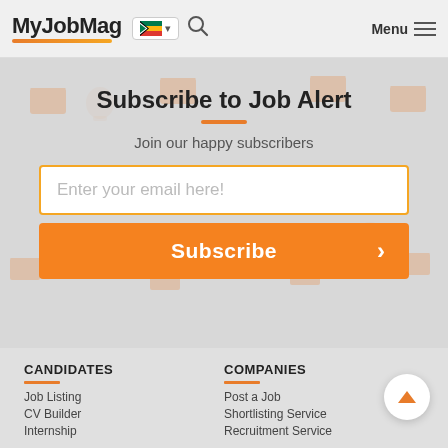MyJobMag | Menu
Subscribe to Job Alert
Join our happy subscribers
Enter your email here!
Subscribe
CANDIDATES
COMPANIES
Job Listing
CV Builder
Internship
Post a Job
Shortlisting Service
Recruitment Service